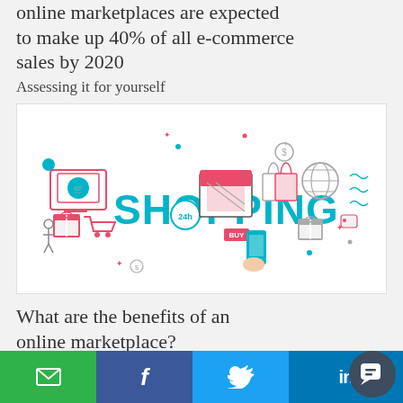online marketplaces are expected to make up 40% of all e-commerce sales by 2020
Assessing it for yourself
[Figure (illustration): Shopping-themed flat design illustration with icons including a monitor with shopping cart, gift boxes, shopping bags, a storefront, a 24h clock, a globe, a mobile phone with hand, and the word SHOPPING in large teal letters]
What are the benefits of an online marketplace?
Email share | Facebook share | Twitter share | LinkedIn share